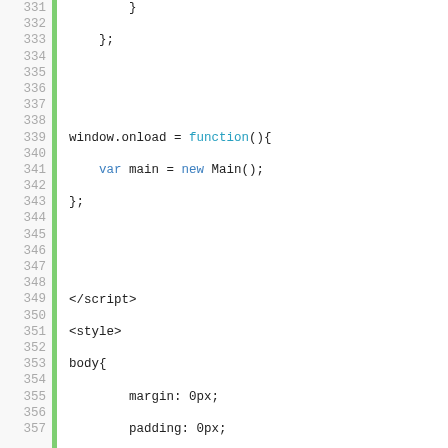[Figure (screenshot): Code editor screenshot showing JavaScript and CSS source code with line numbers 331-357. A green vertical bar separates line numbers from code. Lines show closing braces, window.onload function, script/style tags, and CSS rules for body, ul/li, #wrapper, and #menu selectors.]